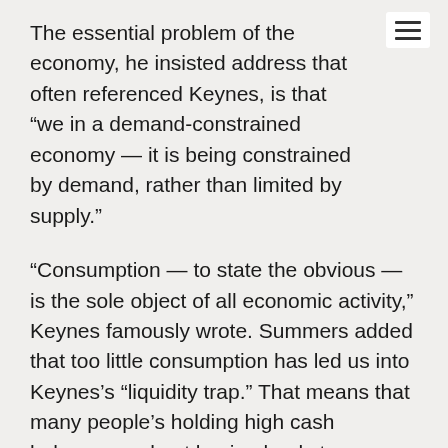The essential problem of the economy, he insisted address that often referenced Keynes, is that "we in a demand-constrained economy — it is being constrained by demand, rather than limited by supply."
"Consumption — to state the obvious — is the sole object of all economic activity," Keynes famously wrote. Summers added that too little consumption has led us into Keynes's "liquidity trap." That means that many people's holding high cash balances and not buying leads to an underperforming economy, according to Keynes.
"And it means that many of the principles we have traditionally had in economics — the virtue of savings and balanced budgets and the like — have to be re-